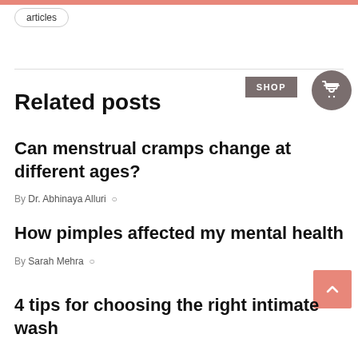articles
Related posts
Can menstrual cramps change at different ages?
By Dr. Abhinaya Alluri
How pimples affected my mental health
By Sarah Mehra
4 tips for choosing the right intimate wash